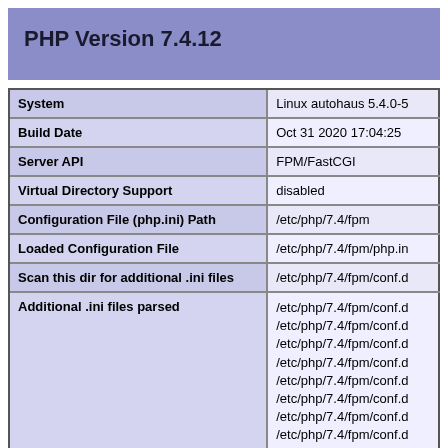PHP Version 7.4.12
|  |  |
| --- | --- |
| System | Linux autohaus 5.4.0-5 |
| Build Date | Oct 31 2020 17:04:25 |
| Server API | FPM/FastCGI |
| Virtual Directory Support | disabled |
| Configuration File (php.ini) Path | /etc/php/7.4/fpm |
| Loaded Configuration File | /etc/php/7.4/fpm/php.in |
| Scan this dir for additional .ini files | /etc/php/7.4/fpm/conf.d |
| Additional .ini files parsed | /etc/php/7.4/fpm/conf.d
/etc/php/7.4/fpm/conf.d
/etc/php/7.4/fpm/conf.d
/etc/php/7.4/fpm/conf.d
/etc/php/7.4/fpm/conf.d
/etc/php/7.4/fpm/conf.d
/etc/php/7.4/fpm/conf.d
/etc/php/7.4/fpm/conf.d
pdo_mysql.ini, /etc/php
/etc/php/7.4/fpm/conf.d
/etc/php/7.4/fpm/conf.d
/etc/php/7.4/fpm/conf.d
/etc/php/7.4/fpm/conf.d |